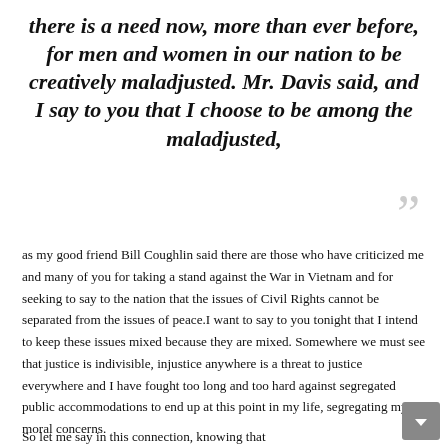there is a need now, more than ever before, for men and women in our nation to be creatively maladjusted. Mr. Davis said, and I say to you that I choose to be among the maladjusted,
as my good friend Bill Coughlin said there are those who have criticized me and many of you for taking a stand against the War in Vietnam and for seeking to say to the nation that the issues of Civil Rights cannot be separated from the issues of peace.I want to say to you tonight that I intend to keep these issues mixed because they are mixed. Somewhere we must see that justice is indivisible, injustice anywhere is a threat to justice everywhere and I have fought too long and too hard against segregated public accommodations to end up at this point in my life, segregating my moral concerns.
So let me say in this connection, knowing that...